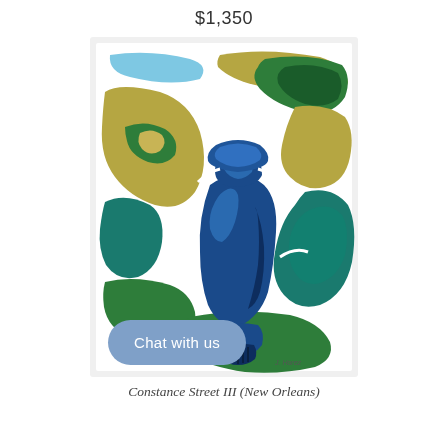$1,350
[Figure (illustration): An abstract painting depicting a blue ceramic jug/vase on a pedestal, surrounded by swirling abstract forms in olive green, dark green, teal, and sky blue on a white background. The painting has thick, expressive brushwork with visible paint texture. Signed in lower right corner.]
Chat with us
Constance Street III (New Orleans)